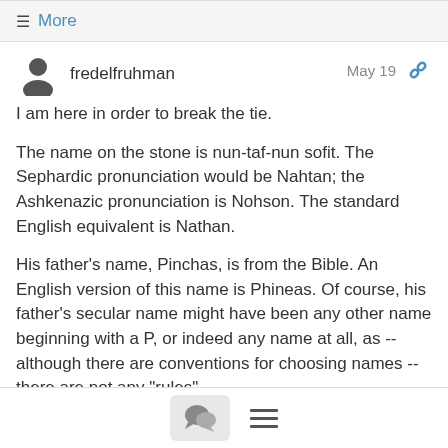≡ More
fredelfruhman   May 19
I am here in order to break the tie.
The name on the stone is nun-taf-nun sofit.  The Sephardic pronunciation would be Nahtan; the Ashkenazic pronunciation is Nohson.  The standard English equivalent is Nathan.
His father's name, Pinchas, is from the Bible.  An English version of this name is Phineas.  Of course, his father's secular name might have been any other name beginning with a P, or indeed any name at all, as -- although there are conventions for choosing names -- there are not any "rules".
[chat icon] [menu icon]